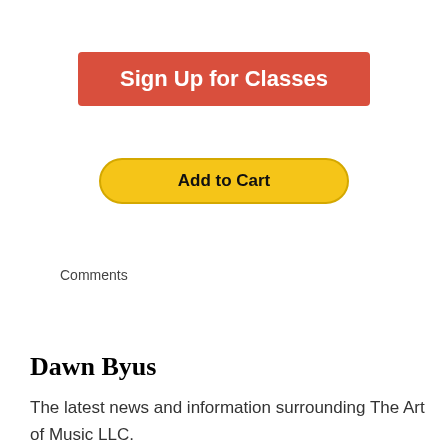[Figure (other): Red button labeled 'Sign Up for Classes']
[Figure (other): Yellow rounded button labeled 'Add to Cart']
Comments
Dawn Byus
The latest news and information surrounding The Art of Music LLC.